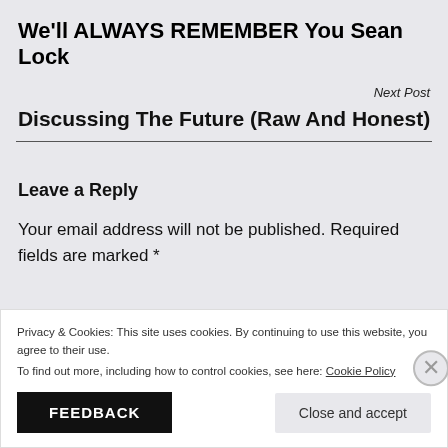We'll ALWAYS REMEMBER You Sean Lock
Next Post
Discussing The Future (Raw And Honest)
Leave a Reply
Your email address will not be published. Required fields are marked *
Privacy & Cookies: This site uses cookies. By continuing to use this website, you agree to their use.
To find out more, including how to control cookies, see here: Cookie Policy